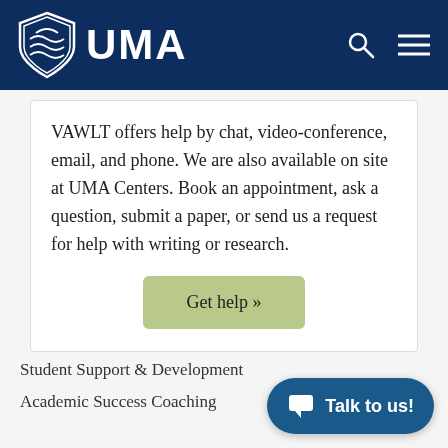UMA
VAWLT offers help by chat, video-conference, email, and phone. We are also available on site at UMA Centers. Book an appointment, ask a question, submit a paper, or send us a request for help with writing or research.
Get help »
Student Support & Development
Academic Success Coaching
Talk to us!